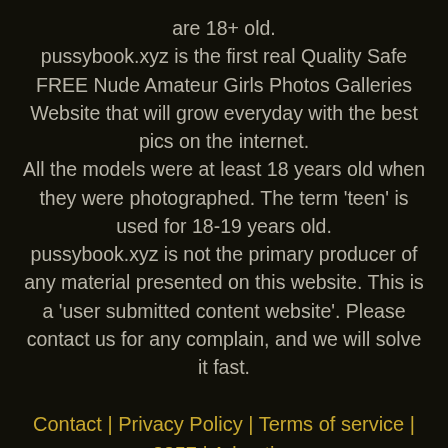are 18+ old. pussybook.xyz is the first real Quality Safe FREE Nude Amateur Girls Photos Galleries Website that will grow everyday with the best pics on the internet. All the models were at least 18 years old when they were photographed. The term 'teen' is used for 18-19 years old. pussybook.xyz is not the primary producer of any material presented on this website. This is a 'user submitted content website'. Please contact us for any complain, and we will solve it fast.
Contact | Privacy Policy | Terms of service | 2257 | Advertise